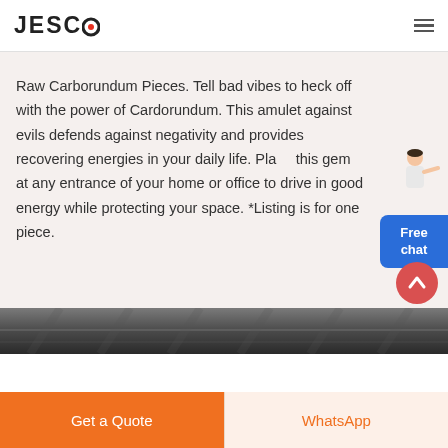JESCO
Raw Carborundum Pieces. Tell bad vibes to heck off with the power of Cardorundum. This amulet against evils defends against negativity and provides recovering energies in your daily life. Place this gem at any entrance of your home or office to drive in good energy while protecting your space. *Listing is for one piece.
[Figure (illustration): Free chat widget with person illustration]
READ MORE →
[Figure (photo): Dark metallic/industrial surface photo strip]
Get a Quote | WhatsApp